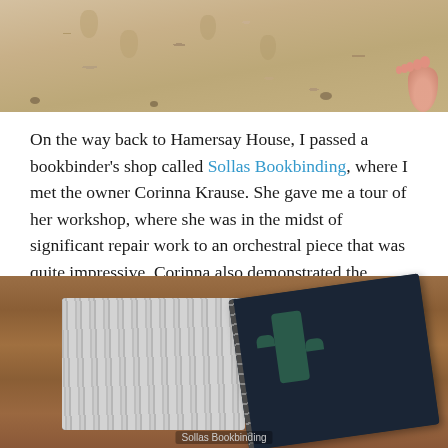[Figure (photo): Top portion of a sandy beach with footprints and a person's foot/toes visible at the lower right corner]
On the way back to Hamersay House, I passed a bookbinder's shop called Sollas Bookbinding, where I met the owner Corinna Krause. She gave me a tour of her workshop, where she was in the midst of significant repair work to an orchestral piece that was quite impressive. Corinna also demonstrated the different styles of binding that she had in process. Happy that I managed to get there before closing time, and even happier to leave with a new diary bound in the coptic style.
[Figure (photo): A wooden table surface with two items: a small card/photo showing fanned bookbinding pages, and a dark navy blue diary with cactus pattern bound in coptic style with visible binding spine. A caption reads 'Sollas Bookbinding'.]